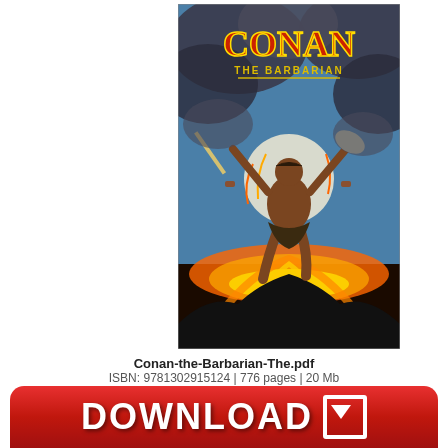[Figure (illustration): Comic book cover of 'Conan the Barbarian' showing a muscular warrior holding a sword and axe, leaping over a volcanic explosion with fire and smoke, against a moonlit sky. Title text 'CONAN THE BARBARIAN' in red and yellow letters at the top.]
Conan-the-Barbarian-The.pdf
ISBN: 9781302915124 | 776 pages | 20 Mb
[Figure (other): Red rounded download button with white text 'DOWNLOAD' and a download icon arrow.]